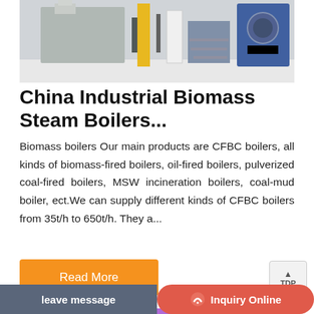[Figure (photo): Industrial boiler equipment in a factory/warehouse setting, showing large machinery and structural components]
China Industrial Biomass Steam Boilers...
Biomass boilers Our main products are CFBC boilers, all kinds of biomass-fired boilers, oil-fired boilers, pulverized coal-fired boilers, MSW incineration boilers, coal-mud boiler, ect.We can supply different kinds of CFBC boilers from 35t/h to 650t/h. They a...
[Figure (photo): Industrial boiler/pressure vessel equipment with red pipes and metallic cylindrical tank]
Save Stickers on WhatsApp
leave message
Inquiry Online